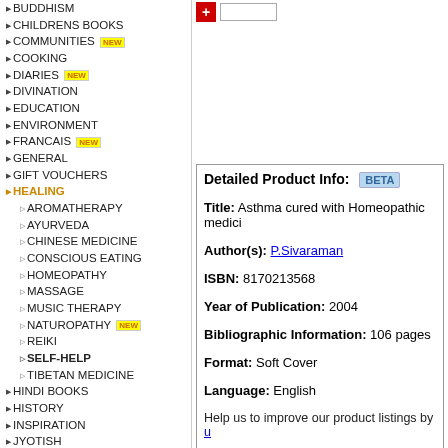BUDDHISM
CHILDRENS BOOKS
COMMUNITIES NEW
COOKING
DIARIES NEW
DIVINATION
EDUCATION
ENVIRONMENT
FRANCAIS NEW
GENERAL
GIFT VOUCHERS
HEALING
AROMATHERAPY
AYURVEDA
CHINESE MEDICINE
CONSCIOUS EATING
HOMEOPATHY
MASSAGE
MUSIC THERAPY
NATUROPATHY NEW
REIKI
SELF-HELP
TIBETAN MEDICINE
HINDI BOOKS
HISTORY
INSPIRATION
JYOTISH
LANGUAGES
MASTERS
MEDITATION
MUSIC
ORGANIC FARMING
PHILOSOPHY
PSYCHOLOGY
RELIGIONS
SANSKRIT
SPIRITUAL TEXTS
SPIRITUALITY
TANTRA
TIBETAN BUDDHISM
TRAVEL
Detailed Product Info: BETA
Title: Asthma cured with Homeopathic medici...
Author(s): P.Sivaraman
ISBN: 8170213568
Year of Publication: 2004
Bibliographic Information: 106 pages
Format: Soft Cover
Language: English
Help us to improve our product listings by u...
Vedic Books Sa...
Today: 649
Yesterday: 6...
Vedic Books Product Explorer
Explore more books in Vedic Books > HEALIN...
Vedic Books > HEALIN...